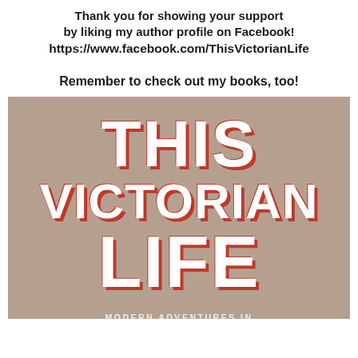Thank you for showing your support by liking my author profile on Facebook! https://www.facebook.com/ThisVictorianLife
Remember to check out my books, too!
[Figure (illustration): Book cover for 'This Victorian Life: Modern Adventures in Nineteenth-Century Culture, Cooking, Fashion, and Technology' on a tan/taupe background with large bold white text and red shadow effect.]